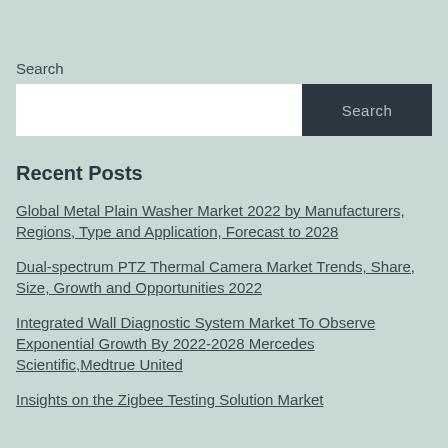Search
Search [input box and button]
Recent Posts
Global Metal Plain Washer Market 2022 by Manufacturers, Regions, Type and Application, Forecast to 2028
Dual-spectrum PTZ Thermal Camera Market Trends, Share, Size, Growth and Opportunities 2022
Integrated Wall Diagnostic System Market To Observe Exponential Growth By 2022-2028 Mercedes Scientific,Medtrue United
Insights on the Zigbee Testing Solution Market